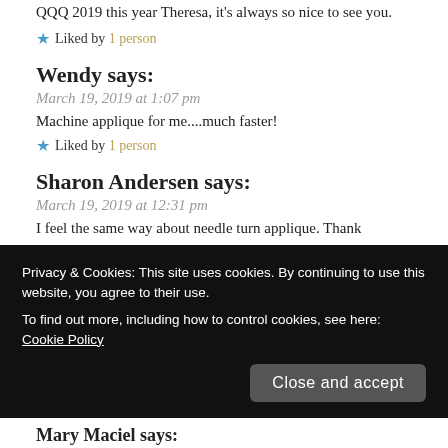QQQ 2019 this year Theresa, it's always so nice to see you.
★ Liked by 1 person
Wendy says:
March 19, 2019 at 1:07 pm
Machine applique for me....much faster!
★ Liked by 1 person
Sharon Andersen says:
March 19, 2019 at 12:31 pm
I feel the same way about needle turn applique. Thank
Privacy & Cookies: This site uses cookies. By continuing to use this website, you agree to their use.
To find out more, including how to control cookies, see here:
Cookie Policy
Close and accept
Mary Maciel says: